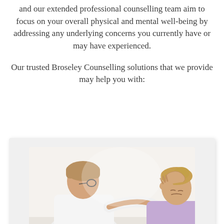and our extended professional counselling team aim to focus on your overall physical and mental well-being by addressing any underlying concerns you currently have or may have experienced.
Our trusted Broseley Counselling solutions that we provide may help you with:
[Figure (photo): A counsellor in a white coat placing a hand on the shoulder of a distressed young woman with her hand on her forehead, set against a light background.]